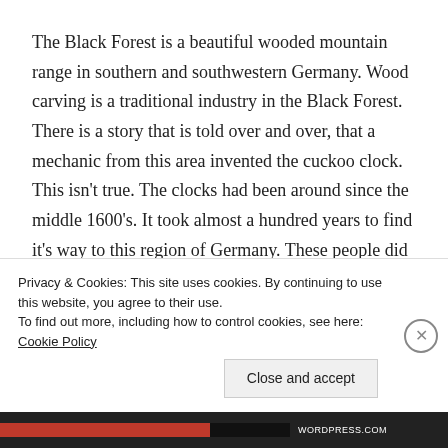The Black Forest is a beautiful wooded mountain range in southern and southwestern Germany. Wood carving is a traditional industry in the Black Forest. There is a story that is told over and over, that a mechanic from this area invented the cuckoo clock. This isn't true. The clocks had been around since the middle 1600's. It took almost a hundred years to find it's way to this region of Germany. These people did develop the industry of cuckoo clock making and are still coming up with new
Privacy & Cookies: This site uses cookies. By continuing to use this website, you agree to their use.
To find out more, including how to control cookies, see here: Cookie Policy
Close and accept